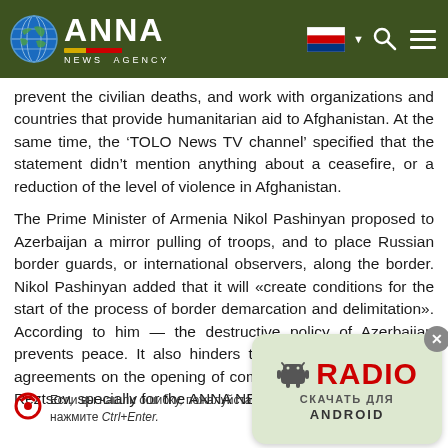[Figure (logo): ANNA News Agency logo with globe icon on dark green header background, with Russian flag, search and menu icons on right]
prevent the civilian deaths, and work with organizations and countries that provide humanitarian aid to Afghanistan. At the same time, the ‘TOLO News TV channel’ specified that the statement didn’t mention anything about a ceasefire, or a reduction of the level of violence in Afghanistan.
The Prime Minister of Armenia Nikol Pashinyan proposed to Azerbaijan a mirror pulling of troops, and to place Russian border guards, or international observers, along the border. Nikol Pashinyan added that it will «create conditions for the start of the process of border demarcation and delimitation». According to him — the destructive policy of Azerbaijan prevents peace. It also hinders the implementation of the agreements on the opening of communications. Constantine Reztsov, specially for the ANNA NEWS.
Если вы нашли ошибку, пожалуйста выделите фрагмент текста и нажмите Ctrl+Enter.
[Figure (other): Radio for Android download banner with Android robot icon and red RADIO text on light green rounded rectangle background]